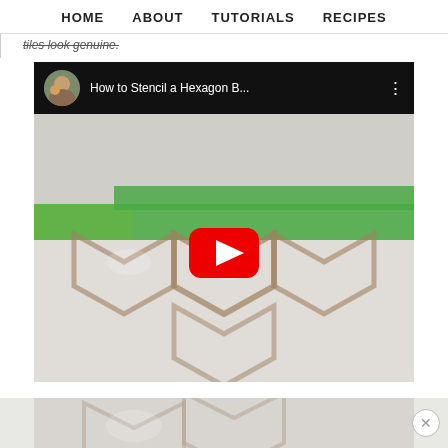HOME   ABOUT   TUTORIALS   RECIPES
tiles look genuine.
[Figure (screenshot): YouTube video embed thumbnail showing 'How to Stencil a Hexagon B...' with a play button overlay. The thumbnail shows hexagon tile stenciling with green and yellow masking tape on a white surface.]
[Figure (photo): Partial bottom of a video or image showing hexagon tile pattern in light colors, with a close (X) button in the bottom right corner.]